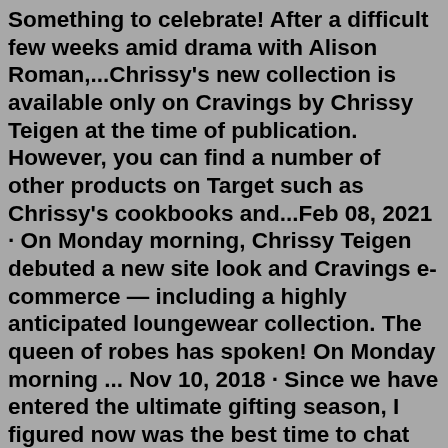Something to celebrate! After a difficult few weeks amid drama with Alison Roman,...Chrissy's new collection is available only on Cravings by Chrissy Teigen at the time of publication. However, you can find a number of other products on Target such as Chrissy's cookbooks and...Feb 08, 2021 · On Monday morning, Chrissy Teigen debuted a new site look and Cravings e-commerce — including a highly anticipated loungewear collection. The queen of robes has spoken! On Monday morning ... Nov 10, 2018 · Since we have entered the ultimate gifting season, I figured now was the best time to chat about my top holiday beauty picks and in today's post we are going to focus on Becca x Chrissy Cravings Collection. We have two kits to go through, so without further ado - please keep on scrolling! Lucky for us, our gal Chrissy Teigen has the kitchen and tabletop essentials covered. Launching today at Target, the Cravings by Chrissy Teigen collection features inspirational yet accessible kitchenware that's perfect for prepping, cooking and serving. Check out some of our favorit...